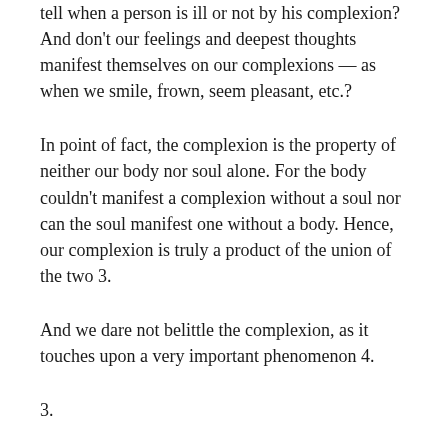tell when a person is ill or not by his complexion? And don't our feelings and deepest thoughts manifest themselves on our complexions — as when we smile, frown, seem pleasant, etc.?
In point of fact, the complexion is the property of neither our body nor soul alone. For the body couldn't manifest a complexion without a soul nor can the soul manifest one without a body. Hence, our complexion is truly a product of the union of the two 3.
And we dare not belittle the complexion, as it touches upon a very important phenomenon 4.
3.
When they envisioned things, the prophets